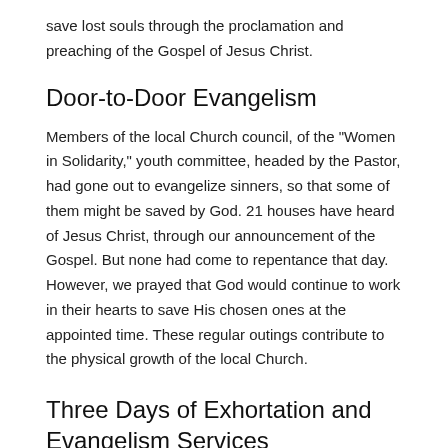save lost souls through the proclamation and preaching of the Gospel of Jesus Christ.
Door-to-Door Evangelism
Members of the local Church council, of the "Women in Solidarity," youth committee, headed by the Pastor, had gone out to evangelize sinners, so that some of them might be saved by God. 21 houses have heard of Jesus Christ, through our announcement of the Gospel. But none had come to repentance that day. However, we prayed that God would continue to work in their hearts to save His chosen ones at the appointed time. These regular outings contribute to the physical growth of the local Church.
Three Days of Exhortation and Evangelism Services
The Presbyterian Church of Jacmel held 3 evenings of spiritual